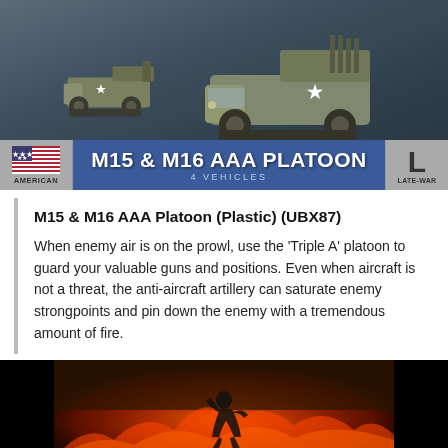[Figure (photo): Military half-track vehicles (M15 and M16) on a dark bluish-grey background with American flag badge on left, 'LATE-WAR' L badge on right, and blue banner reading 'M15 & M16 AAA PLATOON - 4 VEHICLES']
M15 & M16 AAA Platoon (Plastic) (UBX87)
When enemy air is on the prowl, use the 'Triple A' platoon to guard your valuable guns and positions. Even when aircraft is not a threat, the anti-aircraft artillery can saturate enemy strongpoints and pin down the enemy with a tremendous amount of fire.
[Figure (logo): Flames of War logo - orange/fire background with soldier silhouette, text 'FLAMES OF WAR' and 'THE WORLD WAR II MINIATURES GAME' below]